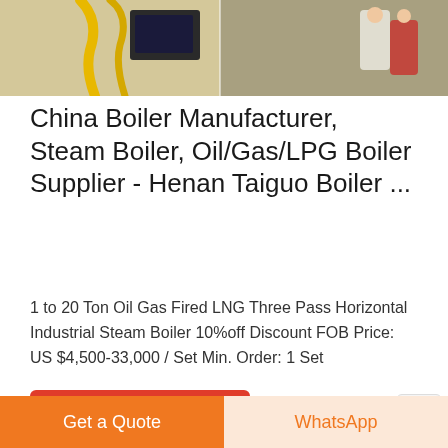[Figure (photo): Industrial boiler equipment photo — shows yellow pipes, machinery parts, and workers in lab coats in the background (top portion of page)]
China Boiler Manufacturer, Steam Boiler, Oil/Gas/LPG Boiler Supplier - Henan Taiguo Boiler ...
1 to 20 Ton Oil Gas Fired LNG Three Pass Horizontal Industrial Steam Boiler 10%off Discount FOB Price: US $4,500-33,000 / Set Min. Order: 1 Set
[Figure (screenshot): Button: Get a quote (red background, white text)]
[Figure (photo): Industrial boiler installation photo — blue cylindrical boiler with red and grey pipes in a facility (bottom portion of page)]
[Figure (screenshot): Bottom bar with two buttons: 'Get a Quote' (orange) and 'WhatsApp' (light orange background with orange text)]